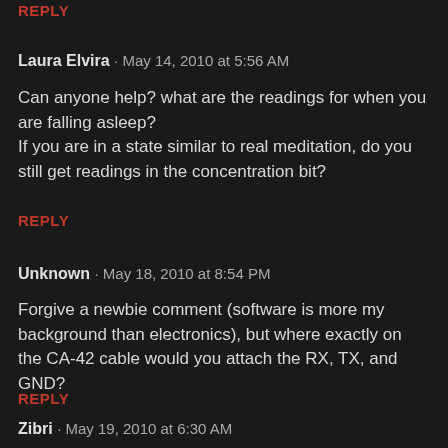REPLY
Laura Elvira · May 14, 2010 at 5:56 AM
Can anyone help? what are the readings for when you are falling asleep?
If you are in a state similar to real meditation, do you still get readings in the concentration bit?
REPLY
Unknown · May 18, 2010 at 8:54 PM
Forgive a newbie comment (software is more my background than electronics), but where exactly on the CA-42 cable would you attach the RX, TX, and GND?
REPLY
Zibri · May 19, 2010 at 6:30 AM
It depends on your cable, there are